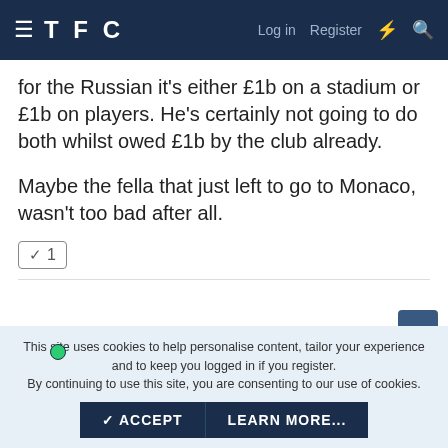TFC  Log in  Register
for the Russian it's either £1b on a stadium or £1b on players. He's certainly not going to do both whilst owed £1b by the club already.
Maybe the fella that just left to go to Monaco, wasn't too bad after all.
✓ 1
CroSpurs 🏆 🏆 🏆 🏆 🏆
This site uses cookies to help personalise content, tailor your experience and to keep you logged in if you register.
By continuing to use this site, you are consenting to our use of cookies.